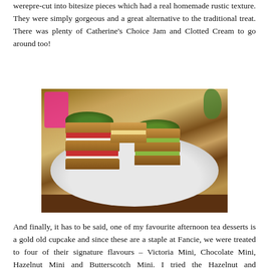werepre-cut into bitesize pieces which had a real homemade rustic texture. They were simply gorgeous and a great alternative to the traditional treat. There was plenty of Catherine's Choice Jam and Clotted Cream to go around too!
[Figure (photo): Plate of layered club sandwiches cut into bite-size pieces, garnished with microgreens/cress on top, served on a white plate on a wooden table with a pink chair visible in the background.]
And finally, it has to be said, one of my favourite afternoon tea desserts is a gold old cupcake and since these are a staple at Fancie, we were treated to four of their signature flavours – Victoria Mini, Chocolate Mini, Hazelnut Mini and Butterscotch Mini. I tried the Hazelnut and Butterscotch, they were both lovely and fluffy with perfectly smooth buttercream – I could have happily eaten them all. To accompany we were treated to a few more bitesize favourites